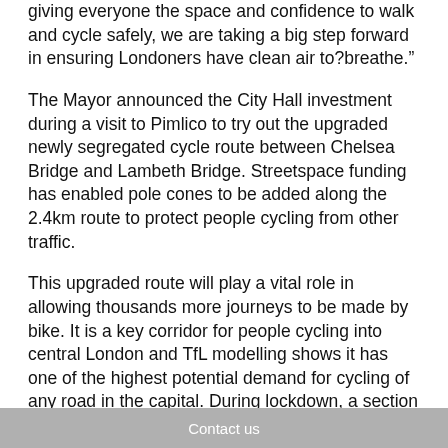giving everyone the space and confidence to walk and cycle safely, we are taking a big step forward in ensuring Londoners have clean air to breathe.”
The Mayor announced the City Hall investment during a visit to Pimlico to try out the upgraded newly segregated cycle route between Chelsea Bridge and Lambeth Bridge. Streetspace funding has enabled pole cones to be added along the 2.4km route to protect people cycling from other traffic.
This upgraded route will play a vital role in allowing thousands more journeys to be made by bike. It is a key corridor for people cycling into central London and TfL modelling shows it has one of the highest potential demand for cycling of any road in the capital. During lockdown, a section of it was the third most popular UK route logged on
Contact us